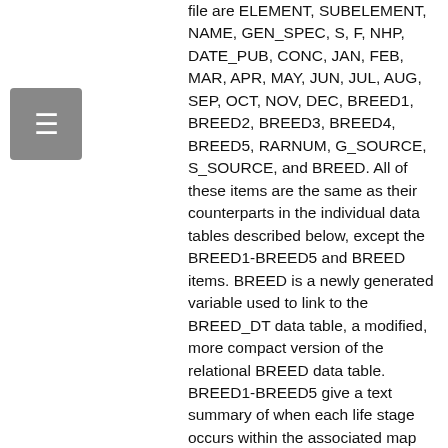file are ELEMENT, SUBELEMENT, NAME, GEN_SPEC, S, F, NHP, DATE_PUB, CONC, JAN, FEB, MAR, APR, MAY, JUN, JUL, AUG, SEP, OCT, NOV, DEC, BREED1, BREED2, BREED3, BREED4, BREED5, RARNUM, G_SOURCE, S_SOURCE, and BREED. All of these items are the same as their counterparts in the individual data tables described below, except the BREED1-BREED5 and BREED items. BREED is a newly generated variable used to link to the BREED_DT data table, a modified, more compact version of the relational BREED data table. BREED1-BREED5 give a text summary of when each life stage occurs within the associated map object. The life stages referred to are the same as those listed in the Detailed Description of the